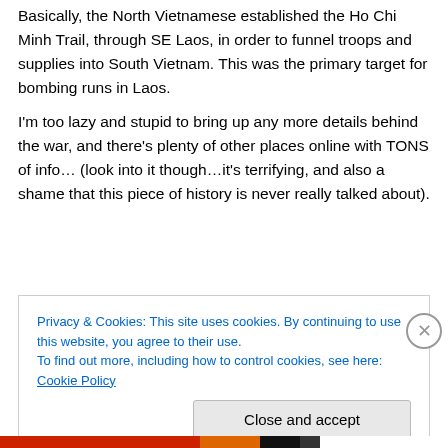Basically, the North Vietnamese established the Ho Chi Minh Trail, through SE Laos, in order to funnel troops and supplies into South Vietnam. This was the primary target for bombing runs in Laos.
I'm too lazy and stupid to bring up any more details behind the war, and there's plenty of other places online with TONS of info… (look into it though…it's terrifying, and also a shame that this piece of history is never really talked about).
Privacy & Cookies: This site uses cookies. By continuing to use this website, you agree to their use.
To find out more, including how to control cookies, see here: Cookie Policy